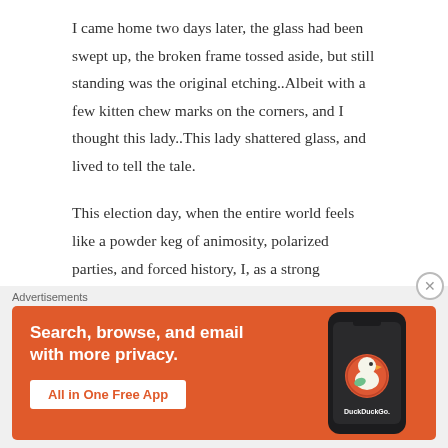I came home two days later, the glass had been swept up, the broken frame tossed aside, but still standing was the original etching..Albeit with a few kitten chew marks on the corners, and I thought this lady..This lady shattered glass, and lived to tell the tale.
This election day, when the entire world feels like a powder keg of animosity, polarized parties, and forced history, I, as a strong independent woman, who has scrimped, labored, and worried about my destiny, and those of my children..I contemplate..who do I look to for strength and inspiration? Who pushes me to be a better woman? I look at this farm girl, and I know that it isn't a
[Figure (other): DuckDuckGo advertisement banner with orange background. Text reads: 'Search, browse, and email with more privacy. All in One Free App' with a DuckDuckGo logo and phone graphic.]